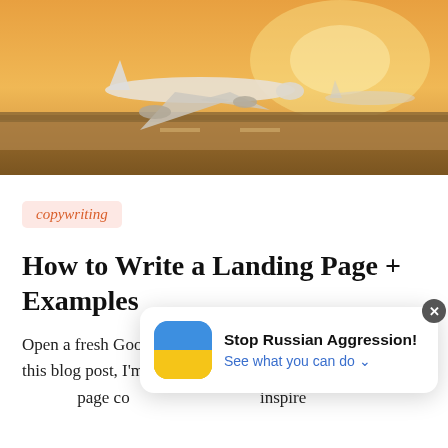[Figure (photo): Airplane on a runway at sunset/golden hour, warm orange and yellow tones, aircraft taking off or landing on an airstrip with barriers on the side.]
copywriting
How to Write a Landing Page + Examples
Open a fresh Google Doc and flex those typing fingers. In this blog post, I'm going to break down h... page co... inspire...
[Figure (infographic): Popup notification with Ukrainian flag icon, text 'Stop Russian Aggression!' and 'See what you can do v', with a close (x) button.]